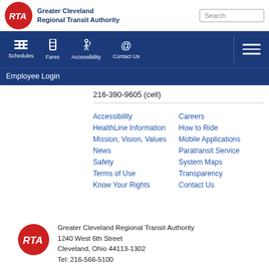[Figure (logo): Greater Cleveland Regional Transit Authority (RTA) red circle logo with white RTA text, followed by organization name text]
Greater Cleveland Regional Transit Authority — navigation bar with Schedules, Fares, Accessibility, Contact Us, Employee Login
216-390-9605 (cell)
Accessibility
HealthLine Information
Mission, Vision, Values
News
Safety
Terms of Use
Know Your Rights
Careers
How to Ride
Mobile Applications
Paratransit Service
System Maps
Transparency
Contact Us
Greater Cleveland Regional Transit Authority
1240 West 6th Street
Cleveland, Ohio 44113-1302
Tel: 216-566-5100